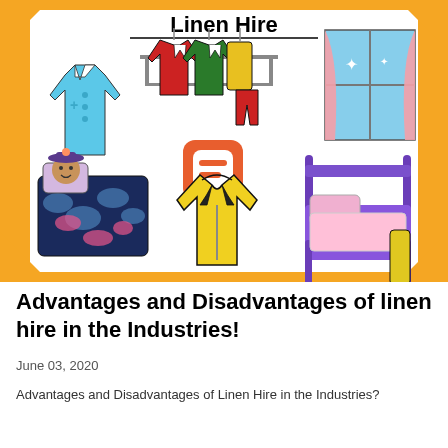[Figure (illustration): Colorful illustration banner for 'Linen Hire' showing various clothing items (blue medical shirt, hanging suits/jackets, curtain/window, person in bed with cloud-print duvet, yellow jacket, purple bed with pink bedding) on an orange decorative background with white corners. A Blogger logo icon is centered. Title 'Linen Hire' appears at the top in bold black text.]
Advantages and Disadvantages of linen hire in the Industries!
June 03, 2020
Advantages and Disadvantages of Linen Hire in the Industries?